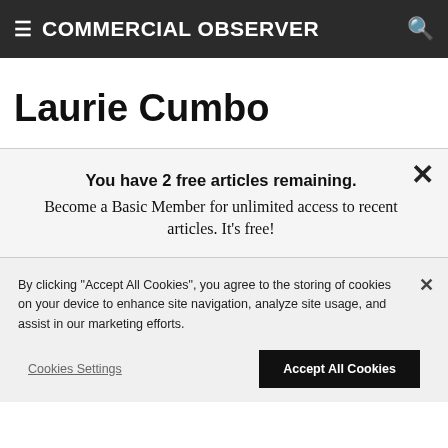≡ COMMERCIAL OBSERVER
Laurie Cumbo
You have 2 free articles remaining. Become a Basic Member for unlimited access to recent articles. It's free!
By clicking "Accept All Cookies", you agree to the storing of cookies on your device to enhance site navigation, analyze site usage, and assist in our marketing efforts.
Cookies Settings  Accept All Cookies